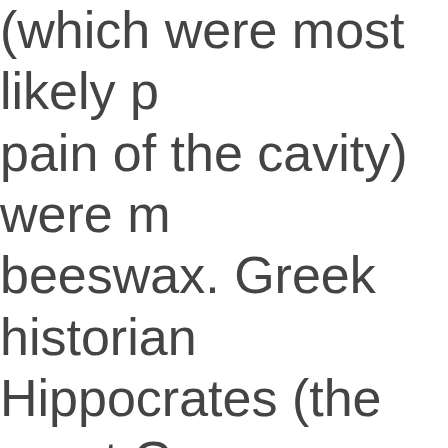(which were most likely prescribed for the pain of the cavity) were made from beeswax. Greek historians and even Hippocrates (the great Greek physician) spoke of dentistry in their writings, but it would take over a thousand years before any official books about teeth and dentistry would ever be penned.

Finally, in 1530, the first b